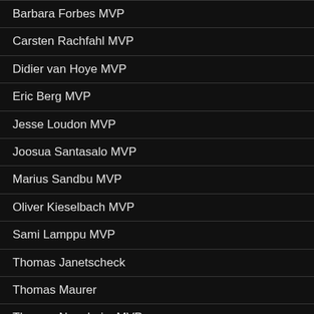Barbara Forbes MVP
Carsten Rachfahl MVP
Didier van Hoye MVP
Eric Berg MVP
Jesse Loudon MVP
Joosua Santasalo MVP
Marius Sandbu MVP
Oliver Kieselbach MVP
Sami Lamppu MVP
Thomas Janetscheck
Thomas Maurer
Thomas Naunheim MVP